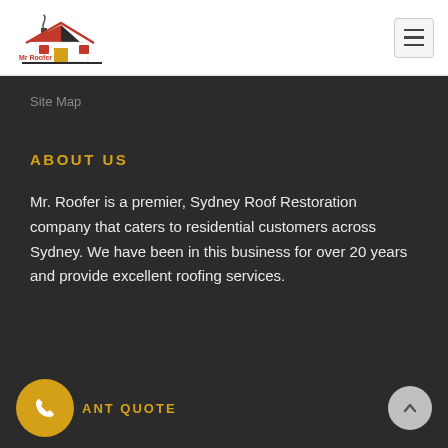[Figure (logo): Mr Roofer logo with house icon and red/black colors]
Site Map
ABOUT US
Mr. Roofer is a premier, Sydney Roof Restoration company that caters to residential customers across Sydney. We have been in this business for over 20 years and provide excellent roofing services.
WANT QUOTE